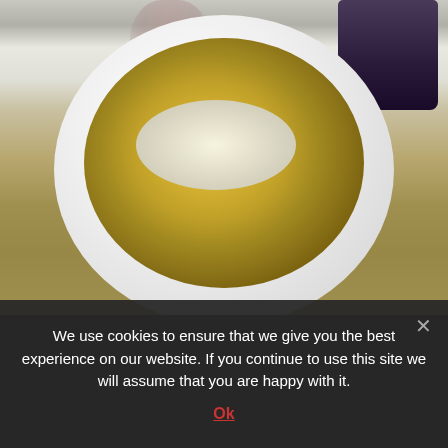[Figure (photo): Restaurant meal photo showing a white bowl of tagliatelle pasta with mushroom sauce, topped with grated Parmesan cheese. A wine glass and dark cup are visible in the background on a white tablecloth.]
We use cookies to ensure that we give you the best experience on our website. If you continue to use this site we will assume that you are happy with it.
Ok